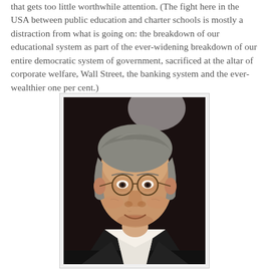that gets too little worthwhile attention. (The fight here in the USA between public education and charter schools is mostly a distraction from what is going on: the breakdown of our educational system as part of the ever-widening breakdown of our entire democratic system of government, sacrificed at the altar of corporate welfare, Wall Street, the banking system and the ever-wealthier one per cent.)
[Figure (photo): Portrait photo of an elderly man with grey hair, wearing round wire-framed glasses, a white shirt and dark blazer, smiling slightly at the camera against a dark background.]